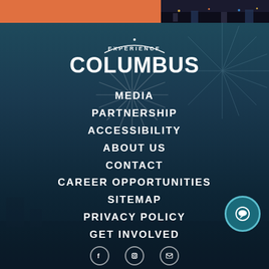[Figure (photo): Top orange bar with night city photo on right]
[Figure (photo): Background image of Columbus city at night with fireworks, overlaid with teal/dark blue gradient]
EXPERIENCE COLUMBUS
MEDIA
PARTNERSHIP
ACCESSIBILITY
ABOUT US
CONTACT
CAREER OPPORTUNITIES
SITEMAP
PRIVACY POLICY
GET INVOLVED
[Figure (illustration): Chat button circle icon bottom right]
[Figure (illustration): Social media icons row at bottom]